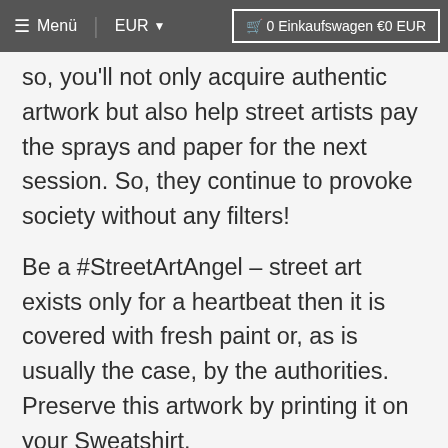≡ Menü  EUR ▾  🛒 0 Einkaufswagen €0 EUR
so, you'll not only acquire authentic artwork but also help street artists pay the sprays and paper for the next session. So, they continue to provoke society without any filters!
Be a #StreetArtAngel – street art exists only for a heartbeat then it is covered with fresh paint or, as is usually the case, by the authorities. Preserve this artwork by printing it on your Sweatshirt.
Your child's T-shirt will be produced exclusively for him - each child receives a